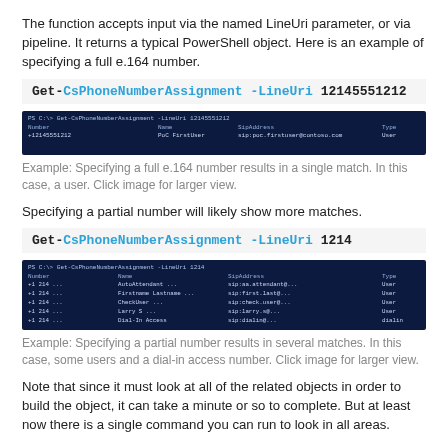The function accepts input via the named LineUri parameter, or via pipeline. It returns a typical PowerShell object. Here is an example of specifying a full e.164 number.
Get-CsPhoneNumberAssignment -LineUri 12145551212
[Figure (screenshot): PowerShell output screenshot showing a single match result with columns: Number, Name, SipAddress, Type]
Example: Specifying a full e.164 number results in a single match. In this case, a user. Click image for larger view.
Specifying a partial number will likely show more matches.
Get-CsPhoneNumberAssignment -LineUri 1214
[Figure (screenshot): PowerShell output screenshot showing multiple match results with columns: Number, Name, SipAddress, Type — several users and a dial-in access number]
Example: Specifying a partial number results in several matches. In this case, some users and a dial-in access number. Click image for larger view.
Note that since it must look at all of the related objects in order to build the object, it can take a minute or so to complete. But at least now there is a single command you can run to look in all areas.